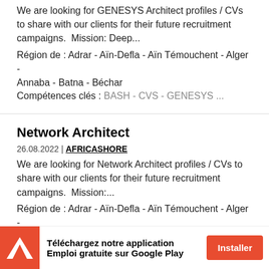We are looking for GENESYS Architect profiles / CVs to share with our clients for their future recruitment campaigns.  Mission: Deep...
Région de : Adrar - Aïn-Defla - Aïn Témouchent - Alger - Annaba - Batna - Béchar
Compétences clés : BASH - CVS - GENESYS ...
Network Architect
26.08.2022 | AFRICASHORE
We are looking for Network Architect profiles / CVs to share with our clients for their future recruitment campaigns.  Mission:...
Région de : Adrar - Aïn-Defla - Aïn Témouchent - Alger - Annaba - Batna - Béchar
Téléchargez notre application Emploi gratuite sur Google Play   Installer